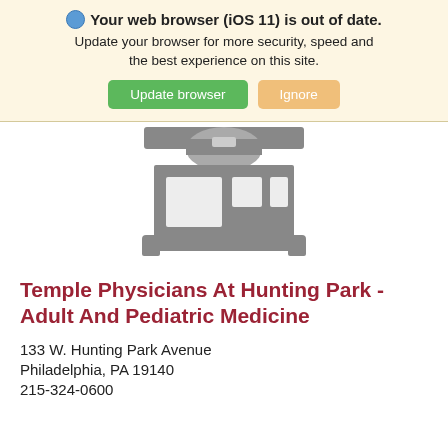🌐 Your web browser (iOS 11) is out of date. Update your browser for more security, speed and the best experience on this site. [Update browser] [Ignore]
[Figure (illustration): Gray silhouette icon of a generic building/storefront with windows and a striped roof element]
Temple Physicians At Hunting Park - Adult And Pediatric Medicine
133 W. Hunting Park Avenue
Philadelphia, PA 19140
215-324-0600